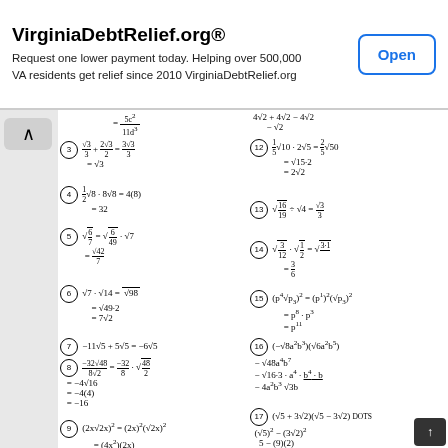[Figure (screenshot): Advertisement banner for VirginiaDebtRelief.org with Open button]
3) √3/3 + 2√3/3 = 3√3/3 = √3
12) 1/5√10 · 2√5 = 2/5√50 = √(15·2) = 2√2
4) 1/2√8 · 8√8 = 4(8) = 32
13) √(16/19) ÷ √4 = √3/3
5) √(6/7) = √(6/49) · √7 = √42/7
14) √(3/12) · √(1/2) = √(3·1) = 3/6
6) √7 · √14 = √98 = √(49·2) = 7√2
15) (p^4 √p3)^2 = (p^1)^2 (√p3)^2 = p^8 · p^3 = p^11
7) -11√5 + 5√5 = -6√5
16) (-√(8a²b³))(√(6a²b⁵)) = -√(48a⁴b⁷) = -√(16·3·a⁴·b⁴·b) = -4a²b³√3b
8) -32√48/8√2 = -32/8 · √(48/2) = -4√16 = -4(4) = -16
17) (√5 + 3√2)(√5 - 3√2) DOTS = (√5)² - (3√2)² = 5 - (9)(2) = 5 - 18 = -13
9) (2x√2x)² = (2x)²(√2x)² = (4x²)(2x) = 8x³